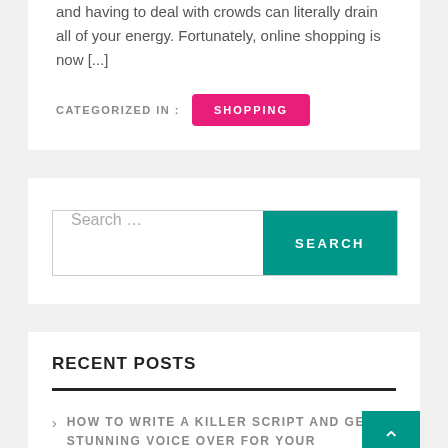and having to deal with crowds can literally drain all of your energy. Fortunately, online shopping is now [...]
CATEGORIZED IN : SHOPPING
[Figure (screenshot): Search bar with placeholder text 'Search ...' and a teal SEARCH button]
RECENT POSTS
> HOW TO WRITE A KILLER SCRIPT AND GET A STUNNING VOICE OVER FOR YOUR